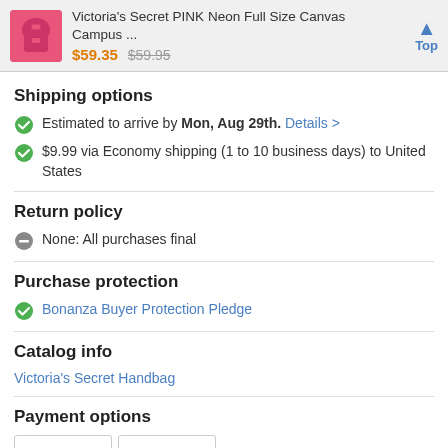Victoria's Secret PINK Neon Full Size Canvas Campus ... $59.35 $59.95 Top
Shipping options
Estimated to arrive by Mon, Aug 29th. Details >
$9.99 via Economy shipping (1 to 10 business days) to United States
Return policy
None: All purchases final
Purchase protection
Bonanza Buyer Protection Pledge
Catalog info
Victoria's Secret Handbag
Payment options
[Figure (logo): PayPal and PayPal CREDIT payment logos]